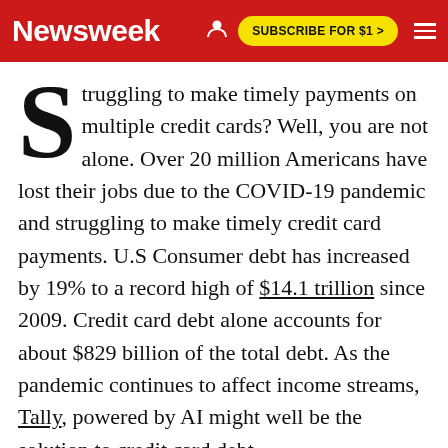Newsweek | SUBSCRIBE FOR $1 >
Struggling to make timely payments on multiple credit cards? Well, you are not alone. Over 20 million Americans have lost their jobs due to the COVID-19 pandemic and struggling to make timely credit card payments. U.S Consumer debt has increased by 19% to a record high of $14.1 trillion since 2009. Credit card debt alone accounts for about $829 billion of the total debt. As the pandemic continues to affect income streams, Tally, powered by AI might well be the solution to credit card debt